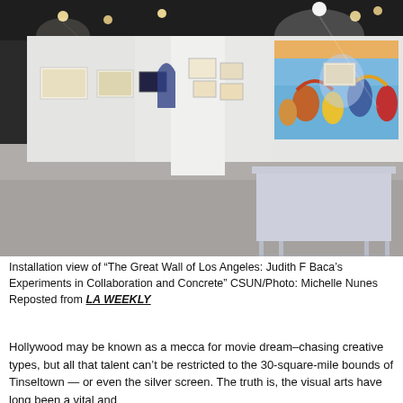[Figure (photo): Interior installation view of an art gallery showing white walls with framed artworks hung at regular intervals. A large colorful mural is visible on the right side showing figures in a vibrant scene. A white display table is in the foreground on a polished concrete floor. Track lighting is visible on the dark ceiling.]
Installation view of “The Great Wall of Los Angeles: Judith F Baca’s Experiments in Collaboration and Concrete” CSUN/Photo: Michelle Nunes
Reposted from LA WEEKLY
Hollywood may be known as a mecca for movie dream–chasing creative types, but all that talent can’t be restricted to the 30-square-mile bounds of Tinseltown — or even the silver screen. The truth is, the visual arts have long been a vital and